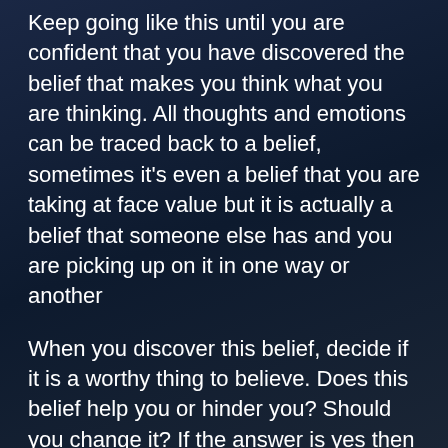Keep going like this until you are confident that you have discovered the belief that makes you think what you are thinking. All thoughts and emotions can be traced back to a belief, sometimes it's even a belief that you are taking at face value but it is actually a belief that someone else has and you are picking up on it in one way or another
When you discover this belief, decide if it is a worthy thing to believe. Does this belief help you or hinder you? Should you change it? If the answer is yes then logically tell yourself why this belief is wrong every time you experience negativity. For example, you could tell yourself that yes indeed someone said that they...